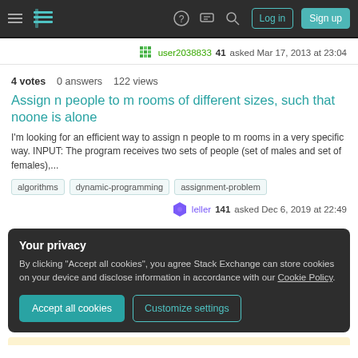Stack Exchange navigation bar with hamburger menu, logo, help, chat, search icons, Log in and Sign up buttons
user2038833 41 asked Mar 17, 2013 at 23:04
4 votes  0 answers  122 views
Assign n people to m rooms of different sizes, such that noone is alone
I'm looking for an efficient way to assign n people to m rooms in a very specific way. INPUT: The program receives two sets of people (set of males and set of females),...
algorithms
dynamic-programming
assignment-problem
leller 141 asked Dec 6, 2019 at 22:49
Your privacy
By clicking "Accept all cookies", you agree Stack Exchange can store cookies on your device and disclose information in accordance with our Cookie Policy.
Accept all cookies  Customize settings